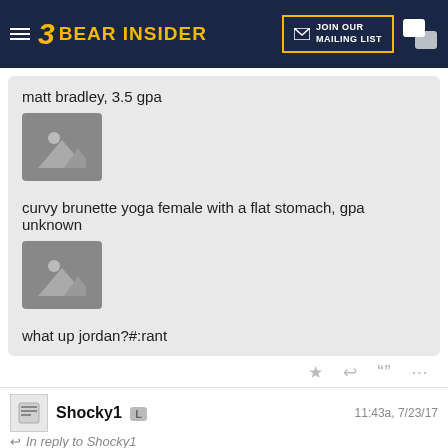BEAR INSIDER — JOIN OUR MAILING LIST
matt bradley, 3.5 gpa
[Figure (photo): Image placeholder with mountain/landscape icon]
curvy brunette yoga female with a flat stomach, gpa unknown
[Figure (photo): Image placeholder with mountain/landscape icon]
what up jordan?#:rant
Shocky1  L   11:43a, 7/23/17
In reply to Shocky1
update: 2018 true student athlete with a 3.2 gpa kj hymes is transferring from the poorly coached (but academically strong) st marys to the basketball elite (deandre ayton & kyree walker) hillcrest prep academy (online fake academics) for his senior year....kj has also left the road to academics for a basketball career, a move for the d...